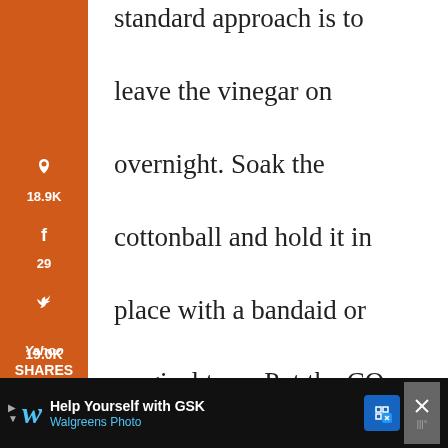standard approach is to leave the vinegar on overnight. Soak the cottonball and hold it in place with a bandaid or surgical tape. Put the CO on after bathing or washing your face in the morning. It can take up to two weeks for
[Figure (infographic): Orange sidebar with social sharing icons: Pinterest (18.9K), Facebook (29), Twitter, Yahoo, Email, Print. Bottom shows 19.0K SHARES.]
[Figure (infographic): Teal heart button with 19K count, and a share button below it on the right side.]
[Figure (infographic): What's Next banner showing circular image and text '25 Weird Ways To Use...']
[Figure (infographic): Walgreens Photo advertisement banner: 'Help Yourself with GSK - Walgreens Photo' on black background with navigation icon and close button.]